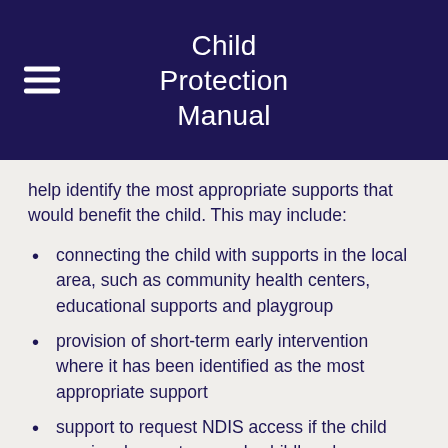Child Protection Manual
help identify the most appropriate supports that would benefit the child. This may include:
connecting the child with supports in the local area, such as community health centers, educational supports and playgroup
provision of short-term early intervention where it has been identified as the most appropriate support
support to request NDIS access if the child requires longer-term early childhood intervention supports.
To locate a local Early Childhood Partner, visit the NDIS website and search for Early Childhood Partners. Families and case managers can also